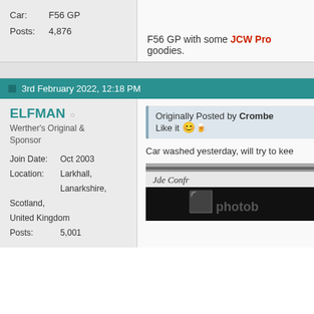Car: F56 GP
Posts: 4,876
F56 GP with some JCW Pro goodies.
3rd February 2022, 12:18 PM
ELFMAN
Werther's Original & Sponsor
Join Date: Oct 2003
Location: Larkhall, Lanarkshire, Scotland, United Kingdom
Posts: 5,001
Originally Posted by Crombe
Like it 😊
Car washed yesterday, will try to kee
[Figure (photo): Cropped photo with a signature strip and photobucket-style image placeholder below]